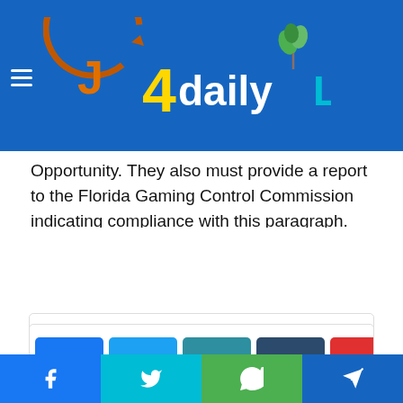J4dailyLife
Opportunity. They also must provide a report to the Florida Gaming Control Commission indicating compliance with this paragraph. The Board will consider licensees' compliance with these requirements as they review their applications. However, licensees must comply with federal requirements as well. For example, in order to operate a casino slot machine facility in Florida, licensees must buy slot machines from businesses that employ women, minorities, veterans, and people with disabilities.
[Figure (other): Social media share buttons: Facebook, Twitter, LinkedIn, Tumblr, Pinterest, Reddit, VK, Email icons in a grid, plus a second partial row with a dark button and a red button on the right]
[Figure (other): Bottom social bar with Facebook (blue), Twitter (cyan), WhatsApp (green), Telegram (blue) buttons]